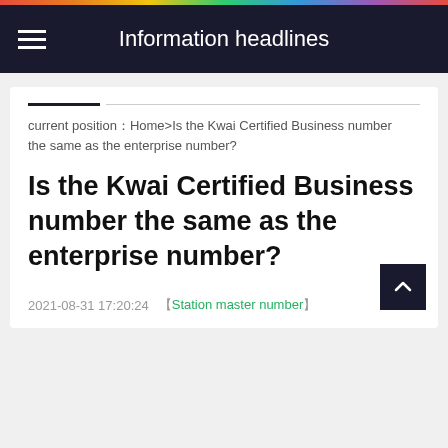Information headlines
current position：Home>Is the Kwai Certified Business number the same as the enterprise number?
Is the Kwai Certified Business number the same as the enterprise number?
2021-08-31 17:20:24  【Station master number】